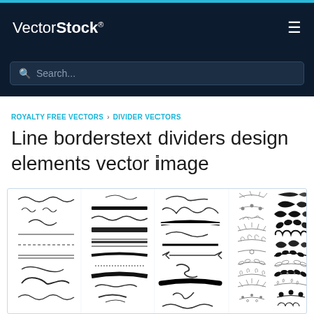VectorStock®
Search...
ROYALTY FREE VECTORS › DIVIDER VECTORS
Line borderstext dividers design elements vector image
[Figure (illustration): Collection of hand-drawn line borders, text dividers and decorative design elements including swirls, flourishes, botanical dividers, and ornamental separators arranged in a grid on white background]